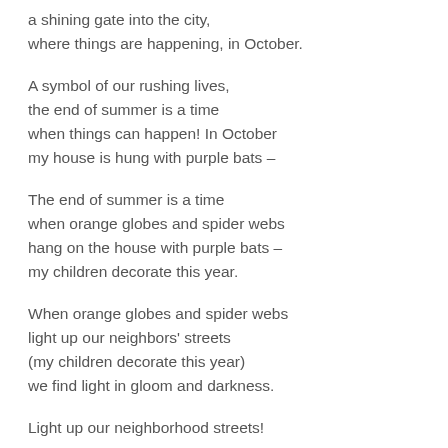a shining gate into the city,
where things are happening, in October.
A symbol of our rushing lives,
the end of summer is a time
when things can happen! In October
my house is hung with purple bats –
The end of summer is a time
when orange globes and spider webs
hang on the house with purple bats –
my children decorate this year.
When orange globes and spider webs
light up our neighbors' streets
(my children decorate this year)
we find light in gloom and darkness.
Light up our neighborhood streets!